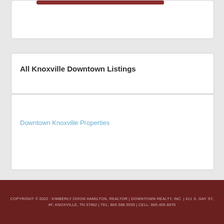All Knoxville Downtown Listings
Downtown Knoxville Properties
COPYRIGHT © 2022 · KIMBERLY DIXON HAMILTON, REALTOR | DOWNTOWN REALTY, INC. | 411 S. GAY ST, #F, KNOXVILLE, TN 37902 | TEL: 865.588.5535 | CELL: 865.405.8970